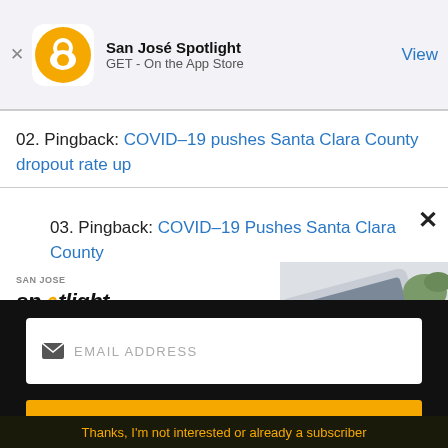[Figure (screenshot): App Store smart banner for San José Spotlight app with orange logo, app name, GET On the App Store text, and View button]
02. Pingback: COVID–19 pushes Santa Clara County dropout rate up
03. Pingback: COVID–19 Pushes Santa Clara County
[Figure (screenshot): San José Spotlight advertisement banner: logo, tagline 'Where San Jose locals start the day.', sanjosespotlight.com, tablet image on right]
EMAIL ADDRESS
SUBSCRIBE
Thanks, I'm not interested or already a subscriber